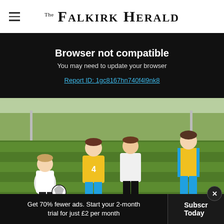The Falkirk Herald
Browser not compatible
You may need to update your browser
Report ID: 1gc8167hn740f4l9nk8
[Figure (photo): Football match action photo showing players in yellow/blue and black/white kits competing for the ball on a grass pitch]
Get 70% fewer ads. Start your 2-month trial for just £2 per month
Subscribe Today